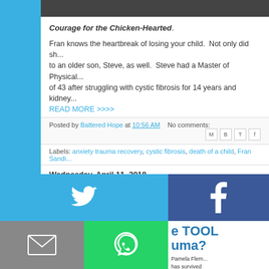[Figure (photo): Top partial image strip, dark background, appears to be a photo of people]
Courage for the Chicken-Hearted.
Fran knows the heartbreak of losing your child.  Not only did sh... to an older son, Steve, as well.  Steve had a Master of Physical... of 43 after struggling with cystic fibrosis for 14 years and kidney...
READ MORE >>>>
Posted by Battered Hope at 10:56 AM    No comments:
Labels: anxiety trauma recovery, cystic fibrosis, death of a child, Fran Sandi...
Wednesday, April 11, 2018
[Figure (screenshot): Social media share buttons grid: Twitter (light blue), Facebook (dark blue), Email (gray), WhatsApp (green), SMS (blue), Save (dark green). Right side shows partial text 'e TOOL... uma?' and 'Pamela Flem... has survived... including the... betrayal, her... with lung can...']